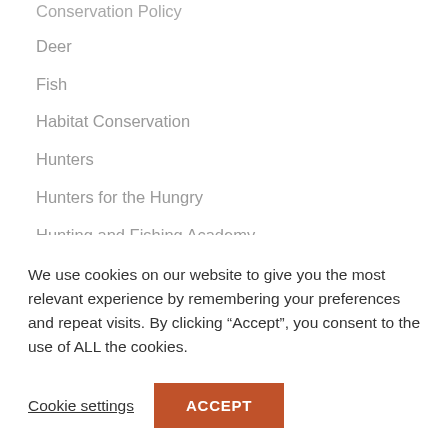Conservation Policy
Deer
Fish
Habitat Conservation
Hunters
Hunters for the Hungry
Hunting and Fishing Academy
Lands
News
Nongame Wildlife
Public Lands Transfer
Recovering America's Wildlife Act
We use cookies on our website to give you the most relevant experience by remembering your preferences and repeat visits. By clicking “Accept”, you consent to the use of ALL the cookies.
Cookie settings
ACCEPT